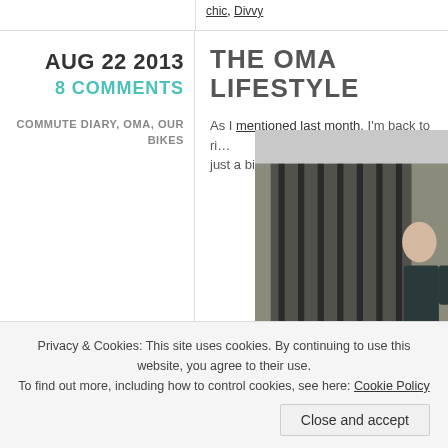chic, Divvy
THE OMA LIFESTYLE
AUG 22 2013
8 COMMENTS
COMMUTE DIARY, OMA, OUR BIKES
As I mentioned last month, I'm back to ri… just a bike style, but a lifestyle.
[Figure (photo): Woman standing in front of a metal gate/fence outside a brick building]
Privacy & Cookies: This site uses cookies. By continuing to use this website, you agree to their use.
To find out more, including how to control cookies, see here: Cookie Policy
Close and accept